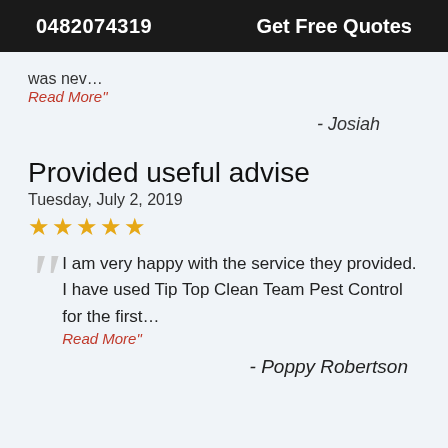0482074319   Get Free Quotes
was nev…
Read More"
- Josiah
Provided useful advise
Tuesday, July 2, 2019
★★★★★
I am very happy with the service they provided. I have used Tip Top Clean Team Pest Control for the first…
Read More"
- Poppy Robertson